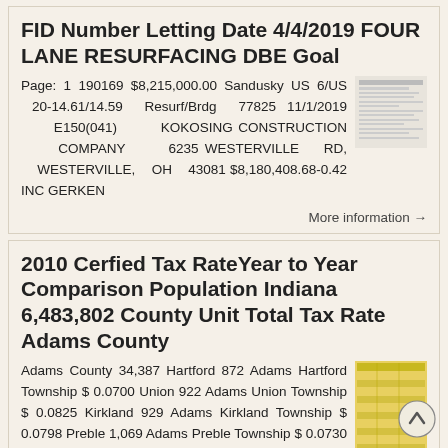FID Number Letting Date 4/4/2019 FOUR LANE RESURFACING DBE Goal
Page: 1 190169 $8,215,000.00 Sandusky US 6/US 20-14.61/14.59 Resurf/Brdg 77825 11/1/2019 E150(041) KOKOSING CONSTRUCTION COMPANY 6235 WESTERVILLE RD, WESTERVILLE, OH 43081 $8,180,408.68-0.42 INC GERKEN
More information →
2010 Certified Tax RateYear to Year Comparison Population Indiana 6,483,802 County Unit Total Tax Rate Adams County
Adams County 34,387 Hartford 872 Adams Hartford Township $ 0.0700 Union 922 Adams Union Township $ 0.0825 Kirkland 929 Adams Kirkland Township $ 0.0798 Preble 1,069 Adams Preble Township $ 0.0730 French